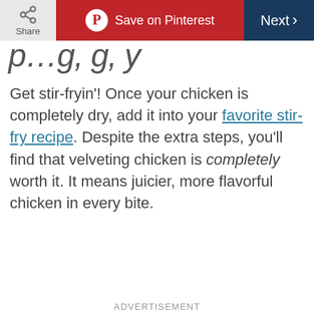Share | Save on Pinterest | Next
p…g, g, y (partial, cropped)
Get stir-fryin'! Once your chicken is completely dry, add it into your favorite stir-fry recipe. Despite the extra steps, you'll find that velveting chicken is completely worth it. It means juicier, more flavorful chicken in every bite.
ADVERTISEMENT